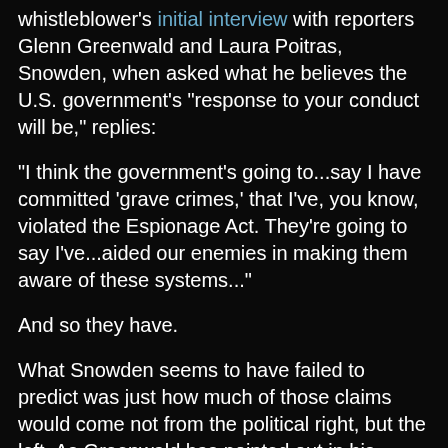whistleblower's initial interview with reporters Glenn Greenwald and Laura Poitras, Snowden, when asked what he believes the U.S. government's "response to your conduct will be," replies:
"I think the government's going to...say I have committed 'grave crimes,' that I've, you know, violated the Espionage Act. They're going to say I've...aided our enemies in making them aware of these systems..."
And so they have.
What Snowden seems to have failed to predict was just how much of those claims would come not from the political right, but the left. As Greenwald has pointed out in his Guardian blog, the most vitriolic attacks against Snowden have been made by many of the same liberals who denounced the warrantless surveillance program under George W. Bush.
California Democrat, Sen. Dianne Feinstein, chair of the Senate Intelligence Committee, called Snowden's leak " an act of treason." Speaking to Bob Schieffer on CBS's Face